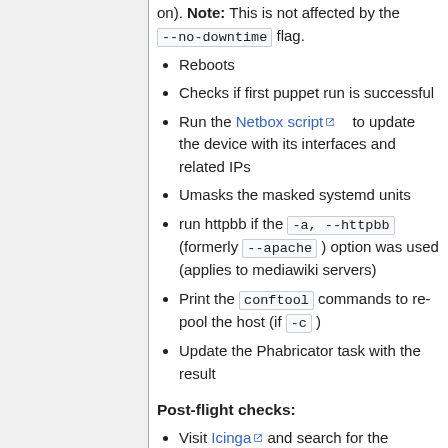on). Note: This is not affected by the --no-downtime flag.
Reboots
Checks if first puppet run is successful
Run the Netbox script to update the device with its interfaces and related IPs
Umasks the masked systemd units
run httpbb if the -a, --httpbb (formerly --apache ) option was used (applies to mediawiki servers)
Print the conftool commands to re-pool the host (if -c )
Update the Phabricator task with the result
Post-flight checks:
Visit Icinga and search for the (unqualified) hostname. Check for